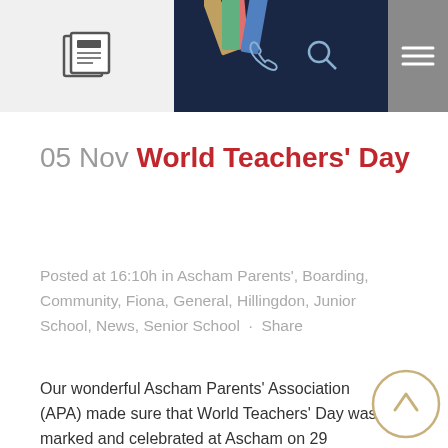Navigation bar with icons
05 Nov World Teachers' Day
Posted at 16:10h in Ascham Parents', Boarding, Community, Fiona, General, Hillingdon, Junior School, News, Senior School · Share
Our wonderful Ascham Parents' Association (APA) made sure that World Teachers' Day was marked and celebrated at Ascham on 29 October. Here the APA writes about the day: 'To mark the occasion and acknowledge the hard work of all the teachers and staff at Ascham in